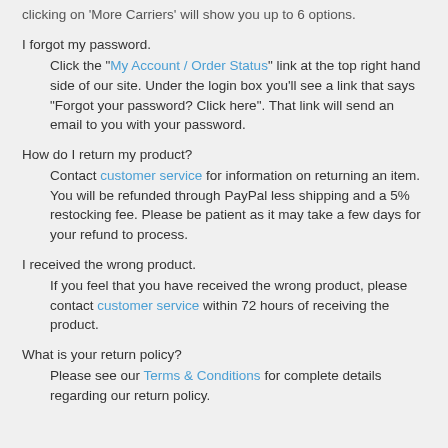clicking on 'More Carriers' will show you up to 6 options.
I forgot my password.
Click the "My Account / Order Status" link at the top right hand side of our site. Under the login box you'll see a link that says "Forgot your password? Click here". That link will send an email to you with your password.
How do I return my product?
Contact customer service for information on returning an item. You will be refunded through PayPal less shipping and a 5% restocking fee. Please be patient as it may take a few days for your refund to process.
I received the wrong product.
If you feel that you have received the wrong product, please contact customer service within 72 hours of receiving the product.
What is your return policy?
Please see our Terms & Conditions for complete details regarding our return policy.